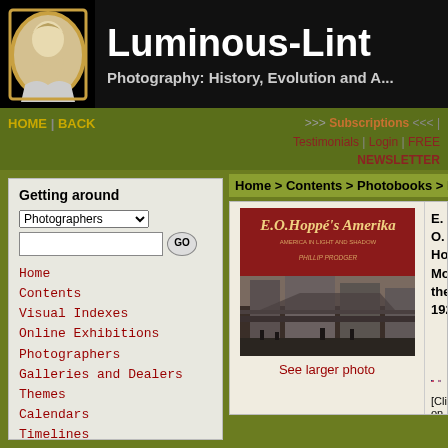Luminous-Lint — Photography: History, Evolution and A...
Luminous-Lint
Photography: History, Evolution and A...
HOME | BACK
>>> Subscriptions <<< | Testimonials | Login | FREE NEWSLETTER
Getting around
Home
Contents
Visual Indexes
Online Exhibitions
Photographers
Galleries and Dealers
Themes
Calendars
Timelines
Techniques
Library
Support
Home > Contents > Photobooks > Bo...
[Figure (photo): Book cover of E. O. Hoppé's Amerika showing a city scene with elevated railway]
See larger photo
E. O. Ho... Modern... the 192...
[Click on flags to buy the book]